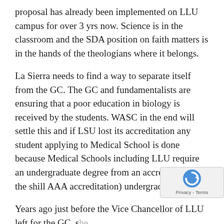proposal has already been implemented on LLU campus for over 3 yrs now. Science is in the classroom and the SDA position on faith matters is in the hands of the theologians where it belongs.
La Sierra needs to find a way to separate itself from the GC. The GC and fundamentalists are ensuring that a poor education in biology is received by the students. WASC in the end will settle this and if LSU lost its accreditation any student applying to Medical School is done because Medical Schools including LLU require an undergraduate degree from an accredited (not the shill AAA accreditation) undergraduate school
Years ago just before the Vice Chancellor of LLU left for the GC, she reported that LLU di...